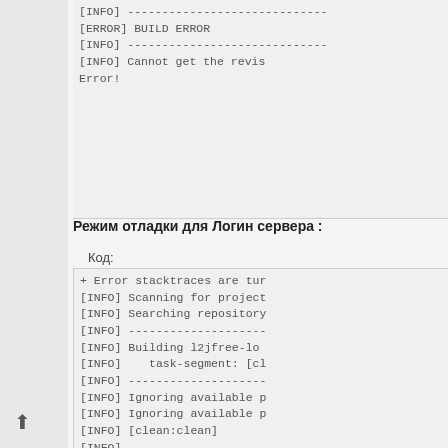[Figure (screenshot): Top code block showing [INFO] dashes, [ERROR] BUILD ERROR, [INFO] dashes, [INFO] Cannot get the revis..., Error!]
Режим отладки для Логин сервера :
Код:
[Figure (screenshot): Code block showing Maven build log output: + Error stacktraces are tur..., [INFO] Scanning for project..., [INFO] Searching repository..., [INFO] dashes, [INFO] Building l2jfree-lo..., [INFO] task-segment: [cl..., [INFO] dashes, [INFO] Ignoring available p..., [INFO] Ignoring available p..., [INFO] [clean:clean], [INFO] dashes, [INFO] Building l2jfree-lo..., [INFO] task-segment: [as..., [INFO] dashes, [INFO] Preparing assembly:a..., [INFO]]